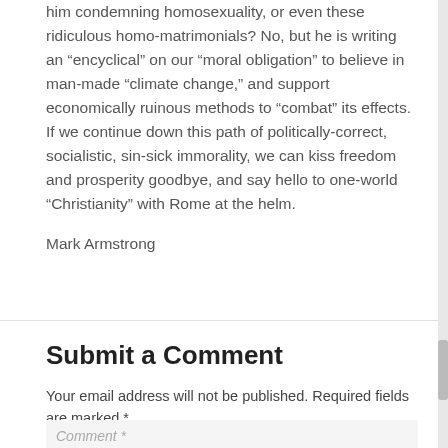him condemning homosexuality, or even these ridiculous homo-matrimonials? No, but he is writing an “encyclical” on our “moral obligation” to believe in man-made “climate change,” and support economically ruinous methods to “combat” its effects. If we continue down this path of politically-correct, socialistic, sin-sick immorality, we can kiss freedom and prosperity goodbye, and say hello to one-world “Christianity” with Rome at the helm.
Mark Armstrong
Submit a Comment
Your email address will not be published. Required fields are marked *
Comment *